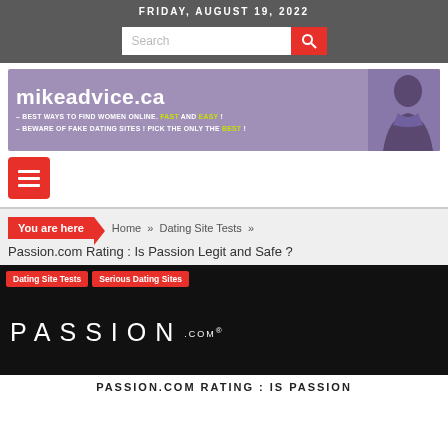FRIDAY, AUGUST 19, 2022
[Figure (screenshot): Search bar with red search button icon]
[Figure (logo): MIKEADVICE.CA banner - Best ways to find women online. Fast and Easy! Beware of fake dating sites! Pick the only the Best!]
[Figure (infographic): Red hamburger menu button]
You are here  Home » Dating Site Tests »  Passion.com Rating : Is Passion Legit and Safe ?
[Figure (screenshot): Black banner with Dating Site Tests and Serious Dating Sites tags, PASSION.COM logo in white letters]
PASSION.COM RATING : IS PASSION